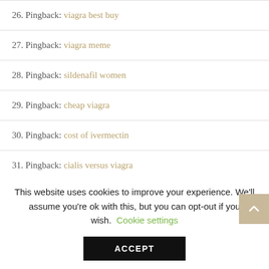26. Pingback: viagra best buy
27. Pingback: viagra meme
28. Pingback: sildenafil women
29. Pingback: cheap viagra
30. Pingback: cost of ivermectin
31. Pingback: cialis versus viagra
32. Pingback: cialis viagra
This website uses cookies to improve your experience. We'll assume you're ok with this, but you can opt-out if you wish. Cookie settings ACCEPT